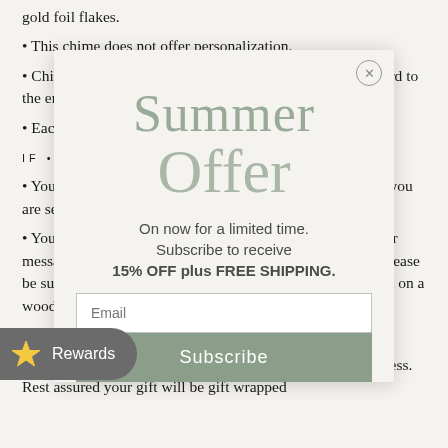gold foil flakes.
This chime does not offer personalization.
Chime measures 12 inches from the top of the hanging cord to the end of the sail.
Each chime is hand tuned to a soft pleasant soothing tone.
IF • THIS • IS • A • GIFT
You must change the shipping address during checkout if you are sending to a different address other than your own.
You have the option to include a gift note. Please type your message in the "Gift Note to Recipient" area at checkout. Please be sure to leave your name on the message will be engraved on a wood gift attached to the chime during gift wrapping.
No invoices are included in our packages.
Shipping directly to a recipient is a large part of our business. Rest assured your gift will be gift wrapped
[Figure (screenshot): Summer Offer modal popup overlay with email subscription form offering 15% OFF plus FREE SHIPPING]
On now for a limited time. Subscribe to receive 15% OFF plus FREE SHIPPING.
Email
Subscribe
Rewards